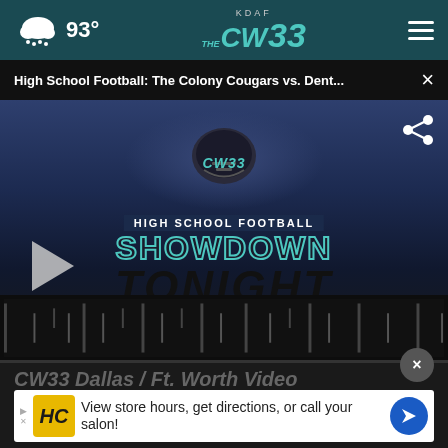KDAF CW33 — 93°
High School Football: The Colony Cougars vs. Dent...
[Figure (screenshot): CW33 High School Football Showdown Tonight video thumbnail with play button]
CW33 Dallas / Ft. Worth Video
View store hours, get directions, or call your salon!